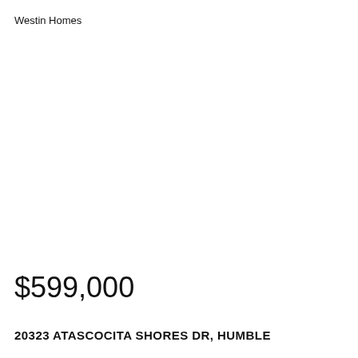Westin Homes
$599,000
20323 ATASCOCITA SHORES DR, HUMBLE